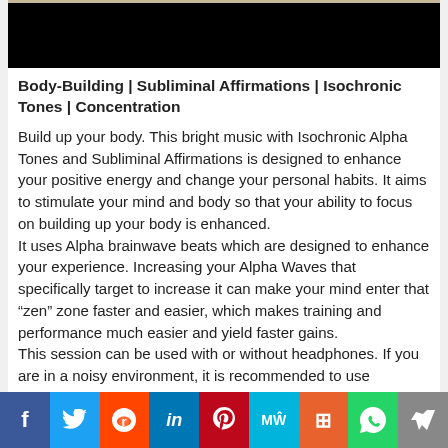[Figure (photo): Dark video thumbnail image with a light brown/tan strip at top]
Body-Building | Subliminal Affirmations | Isochronic Tones | Concentration
Build up your body. This bright music with Isochronic Alpha Tones and Subliminal Affirmations is designed to enhance your positive energy and change your personal habits. It aims to stimulate your mind and body so that your ability to focus on building up your body is enhanced.
It uses Alpha brainwave beats which are designed to enhance your experience. Increasing your Alpha Waves that specifically target to increase it can make your mind enter that “zen” zone faster and easier, which makes training and performance much easier and yield faster gains.
This session can be used with or without headphones. If you are in a noisy environment, it is recommended to use headphones. However, because we use Isochronic Tones it is not necessary.
f  Twitter  reddit  in  Pinterest  MW  Mix  WhatsApp  Share